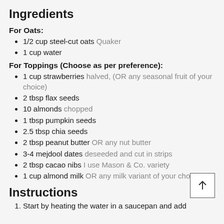Ingredients
For Oats:
1/2 cup steel-cut oats Quaker
1 cup water
For Toppings (Choose as per preference):
1 cup strawberries halved, (OR any seasonal fruit of your choice)
2 tbsp flax seeds
10 almonds chopped
1 tbsp pumpkin seeds
2.5 tbsp chia seeds
2 tbsp peanut butter OR any nut butter
3-4 mejdool dates deseeded and cut in strips
2 tbsp cacao nibs I use Mason & Co. variety
1 cup almond milk OR any milk variant of your choice
Instructions
Start by heating the water in a saucepan and add